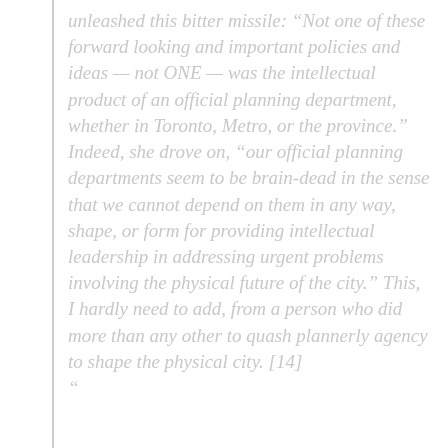unleashed this bitter missile: “Not one of these forward looking and important policies and ideas — not ONE — was the intellectual product of an official planning department, whether in Toronto, Metro, or the province.” Indeed, she drove on, “our official planning departments seem to be brain-dead in the sense that we cannot depend on them in any way, shape, or form for providing intellectual leadership in addressing urgent problems involving the physical future of the city.” This, I hardly need to add, from a person who did more than any other to quash plannerly agency to shape the physical city. [14]
“